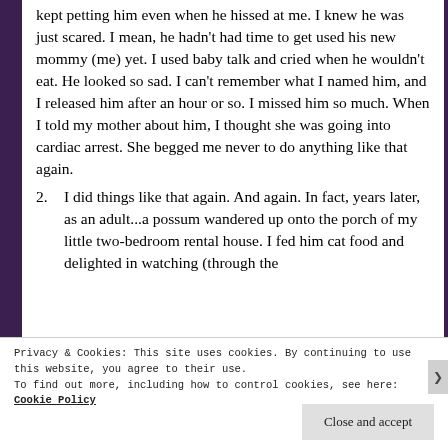kept petting him even when he hissed at me. I knew he was just scared. I mean, he hadn't had time to get used his new mommy (me) yet. I used baby talk and cried when he wouldn't eat. He looked so sad. I can't remember what I named him, and I released him after an hour or so. I missed him so much. When I told my mother about him, I thought she was going into cardiac arrest. She begged me never to do anything like that again.
2. I did things like that again. And again. In fact, years later, as an adult...a possum wandered up onto the porch of my little two-bedroom rental house. I fed him cat food and delighted in watching (through the
Privacy & Cookies: This site uses cookies. By continuing to use this website, you agree to their use.
To find out more, including how to control cookies, see here: Cookie Policy